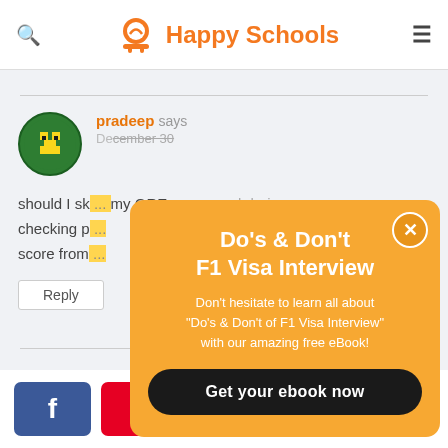Happy Schools
pradeep says
December 30
should I sk... my GRE score card during checking p... score from...
Reply
[Figure (infographic): Popup overlay with orange background. Title: Do's & Don't F1 Visa Interview. Description: Don't hesitate to learn all about "Do's & Don't of F1 Visa Interview" with our amazing free eBook! Button: Get your ebook now]
0 SHARES (Facebook, Pinterest, Twitter, WhatsApp share buttons)